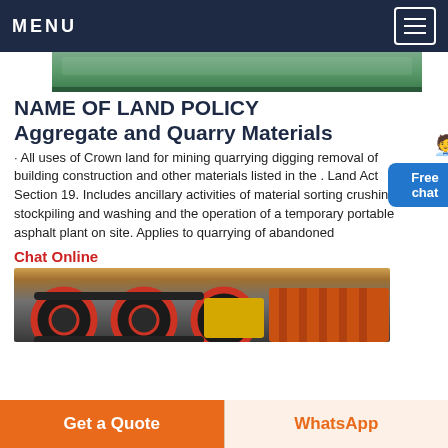MENU
[Figure (photo): Partial top image of industrial or mining equipment, green tones]
NAME OF LAND POLICY
Aggregate and Quarry Materials
· All uses of Crown land for mining quarrying digging removal of building construction and other materials listed in the . Land Act Section 19. Includes ancillary activities of material sorting crushing stockpiling and washing and the operation of a temporary portable asphalt plant on site. Applies to quarrying of abandoned
Chat Online
[Figure (photo): Industrial pulley wheels and belt drive equipment, red and black colors on yellow background]
Get a Quote
WhatsApp